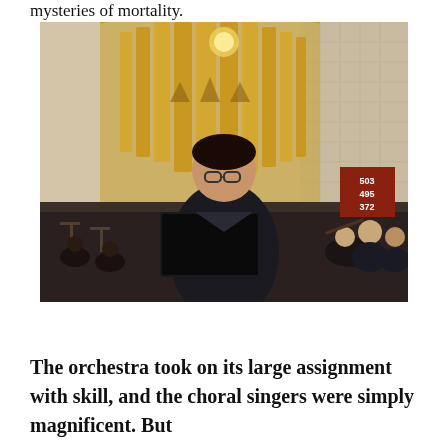mysteries of mortality.
[Figure (photo): A male singer in a black suit stands holding a large black music folder/score, performing in a church or concert hall with ornate gold pipe organs and arched architecture in the background. An orchestra is visible behind and around him, with musicians playing instruments. A hymn board showing numbers 503, 495, 372 is visible on the right side.]
The orchestra took on its large assignment with skill, and the choral singers were simply magnificent. But